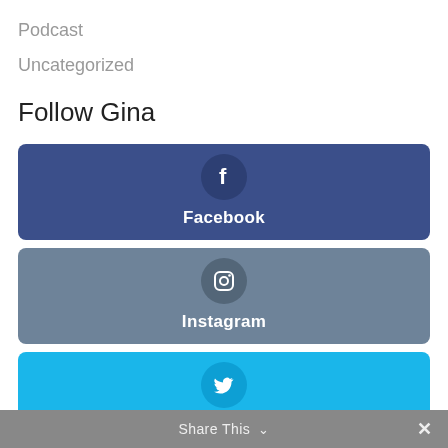Podcast
Uncategorized
Follow Gina
[Figure (infographic): Facebook social follow button - dark blue rounded rectangle with Facebook 'f' icon in circle and label 'Facebook']
[Figure (infographic): Instagram social follow button - grey-blue rounded rectangle with Instagram camera icon in circle and label 'Instagram']
[Figure (infographic): Twitter social follow button - cyan blue rounded rectangle with Twitter bird icon in circle and label 'Twitter']
Share This ∨  ✕